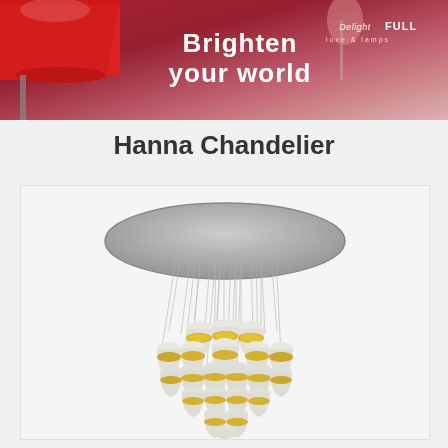[Figure (photo): DelightFULL advertisement banner with red lamp on left, pink/red gradient background, text 'Brighten your world' and DelightFULL logo on right]
Hanna Chandelier
[Figure (photo): Hanna Chandelier product photo showing a large chandelier with multiple white and gold teardrop-shaped pendant lights hanging from a circular chrome ceiling plate on thin cables, arranged in a cascading cluster]